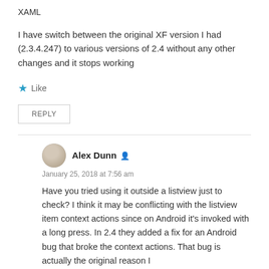XAML
I have switch between the original XF version I had (2.3.4.247) to various versions of 2.4 without any other changes and it stops working
★ Like
REPLY
Alex Dunn
January 25, 2018 at 7:56 am
Have you tried using it outside a listview just to check? I think it may be conflicting with the listview item context actions since on Android it's invoked with a long press. In 2.4 they added a fix for an Android bug that broke the context actions. That bug is actually the original reason I